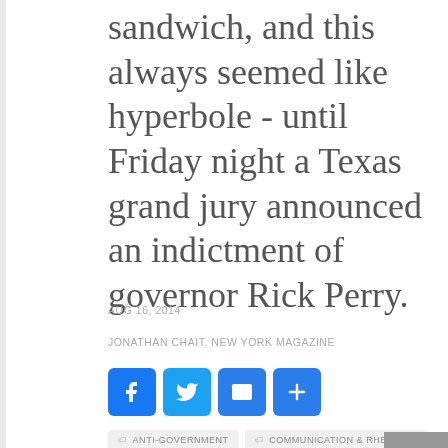sandwich, and this always seemed like hyperbole - until Friday night a Texas grand jury announced an indictment of governor Rick Perry.
AUG 16, 2014
JONATHAN CHAIT, NEW YORK MAGAZINE
[Figure (infographic): Social sharing buttons: Facebook (blue), Twitter (blue), Email (blue envelope), More/Share (blue plus sign)]
ANTI-GOVERNMENT
COMMUNICATION & RHETORIC
COURTS & SUPREME COURT
ETHICS
IDEOLOGY